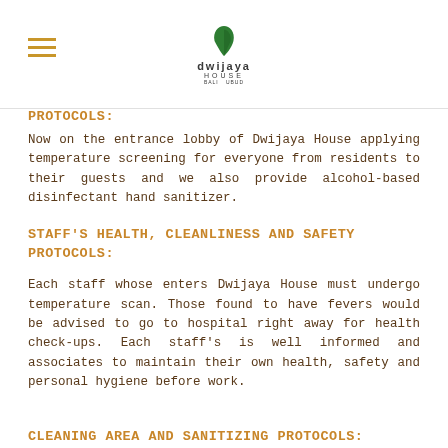dwijaya HOUSE
PROTOCOLS:
Now on the entrance lobby of Dwijaya House applying temperature screening for everyone from residents to their guests and we also provide alcohol-based disinfectant hand sanitizer.
STAFF'S HEALTH, CLEANLINESS AND SAFETY PROTOCOLS:
Each staff whose enters Dwijaya House must undergo temperature scan. Those found to have fevers would be advised to go to hospital right away for health check-ups. Each staff's is well informed and associates to maintain their own health, safety and personal hygiene before work.
CLEANING AREA AND SANITIZING PROTOCOLS:
Every cleaning staff must wash their hands every 30